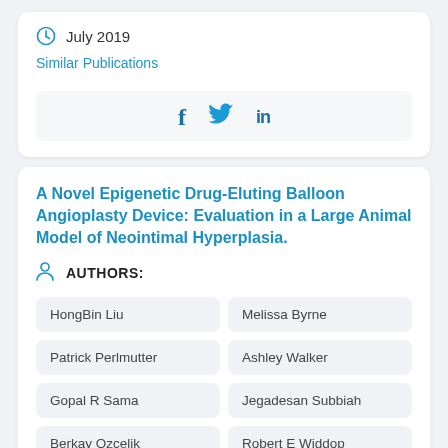July 2019
Similar Publications
[Figure (other): Social share bar with Facebook (f), Twitter (bird icon), and LinkedIn (in) icons]
A Novel Epigenetic Drug-Eluting Balloon Angioplasty Device: Evaluation in a Large Animal Model of Neointimal Hyperplasia.
AUTHORS:
HongBin Liu
Melissa Byrne
Patrick Perlmutter
Ashley Walker
Gopal R Sama
Jegadesan Subbiah
Berkay Ozcelik
Robert E Widdop